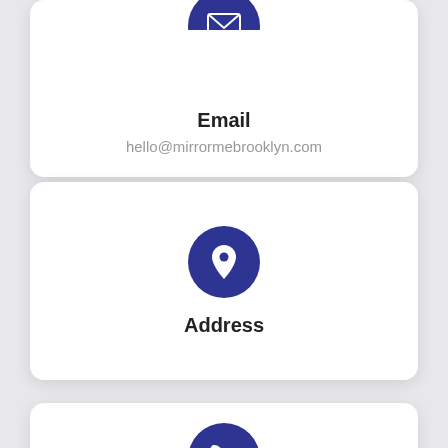[Figure (illustration): White card with dark blue circle icon showing an email envelope at top, partially cropped at top of page]
Email
hello@mirrormebrooklyn.com
[Figure (illustration): White card with dark blue circle icon showing a map pin/location marker]
Address
[Figure (illustration): White card with dark blue circle icon showing a telephone/phone handset, partially cropped at bottom of page]